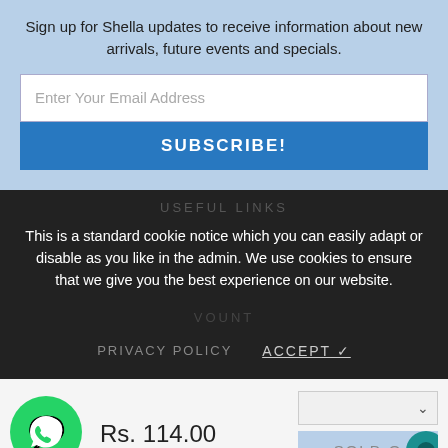Sign up for Shella updates to receive information about new arrivals, future events and specials.
Enter Your Email Address
SUBSCRIBE!
USEFUL LINKS
This is a standard cookie notice which you can easily adapt or disable as you like in the admin. We use cookies to ensure that we give you the best experience on our website.
PRIVACY POLICY
ACCEPT ✓
Rs. 114.00
SOLD O
GetButton